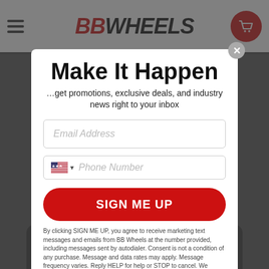[Figure (screenshot): BB Wheels website header with hamburger menu, BB Wheels logo in red and black italic bold text, and a red circular cart icon]
Make It Happen
…get promotions, exclusive deals, and industry news right to your inbox
Email Address (input field placeholder)
Phone Number (input field placeholder with US flag)
SIGN ME UP
By clicking SIGN ME UP, you agree to receive marketing text messages and emails from BB Wheels at the number provided, including messages sent by autodialer. Consent is not a condition of any purchase. Message and data rates may apply. Message frequency varies. Reply HELP for help or STOP to cancel. We process your data as stated in our Privacy Policy
Chat With Us...